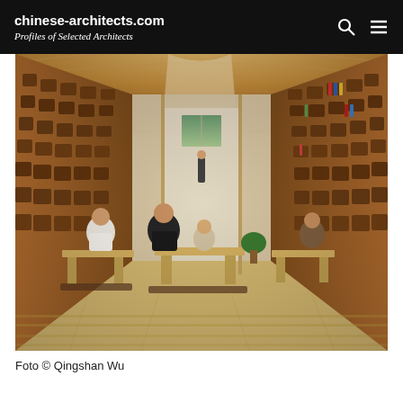chinese-architects.com
Profiles of Selected Architects
[Figure (photo): Interior photograph of a library/reading space with warm wooden bookshelves lining both sides of a long corridor with a vaulted ceiling. People are seated at low wooden tables in the foreground reading. A lone figure stands in the middle distance. Photo credit: Foto © Qingshan Wu]
Foto © Qingshan Wu